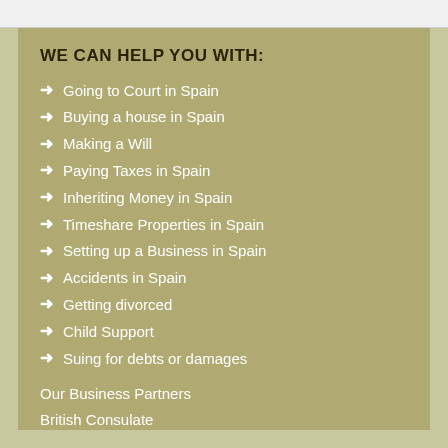WE CAN HELP YOU WITH:
Going to Court in Spain
Buying a house in Spain
Making a Will
Paying Taxes in Spain
Inheriting Money in Spain
Timeshare Properties in Spain
Setting up a Business in Spain
Accidents in Spain
Getting divorced
Child Support
Suing for debts or damages
Our Business Partners
British Consulate